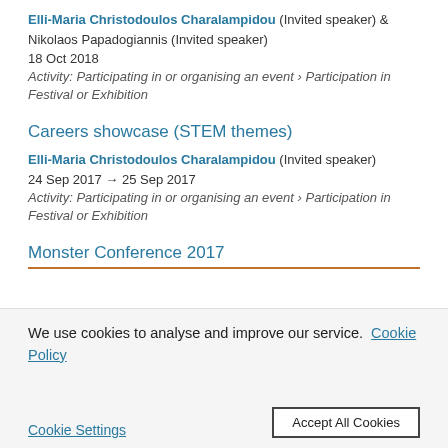Elli-Maria Christodoulos Charalampidou (Invited speaker) & Nikolaos Papadogiannis (Invited speaker)
18 Oct 2018
Activity: Participating in or organising an event › Participation in Festival or Exhibition
Careers showcase (STEM themes)
Elli-Maria Christodoulos Charalampidou (Invited speaker)
24 Sep 2017 → 25 Sep 2017
Activity: Participating in or organising an event › Participation in Festival or Exhibition
Monster Conference 2017
We use cookies to analyse and improve our service. Cookie Policy
Cookie Settings    Accept All Cookies